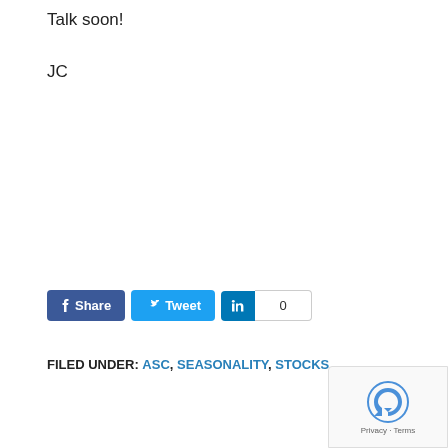Talk soon!
JC
[Figure (other): Social share buttons: Facebook Share, Twitter Tweet, LinkedIn with count 0]
FILED UNDER: ASC, SEASONALITY, STOCKS
[Figure (other): reCAPTCHA badge with Privacy - Terms text]